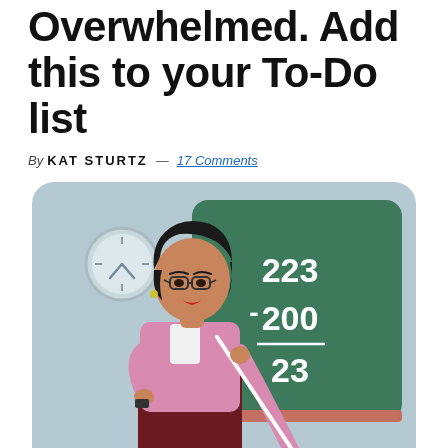Overwhelmed. Add this to your To-Do list
By KAT STURTZ — 17 Comments
[Figure (illustration): Cartoon illustration of a female teacher with black hair, glasses, and a pink sweater with dark red skirt, holding a white pointer stick, standing in front of a green chalkboard that shows the subtraction problem 223 minus 200 equals 23. A wall clock is visible in the upper left background.]